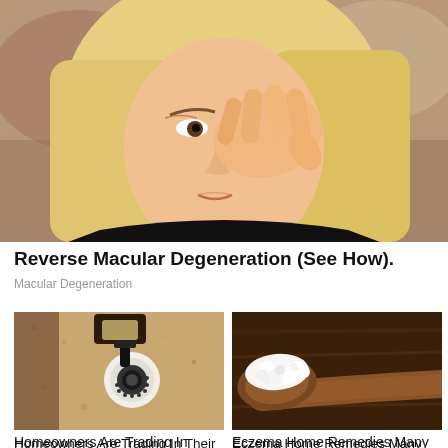[Figure (photo): Blonde woman rubbing/touching her eye with her hand, looking distressed, outdoors background]
Reverse Macular Degeneration (See How).
Macular Degeneration
[Figure (photo): Security camera mounted on a wall next to a light fixture, beige stucco wall]
Homeowners Are Trading In Their Doorbell Cams For
[Figure (photo): White cottage cheese or kefir grains on a wooden spoon against a dark wooden background]
Eczema Home Remedies Many People Might Not